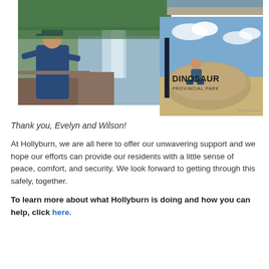[Figure (photo): Person standing near a waterfall with a river and forest in the background, wearing a blue vest and cap]
[Figure (photo): Small photo at top right, partially visible, appears to be an outdoor scene]
[Figure (photo): Person sitting on a large rock sign reading DINOSAUR PROVINCIAL PARK with blue sky and plains in background]
Thank you, Evelyn and Wilson!
At Hollyburn, we are all here to offer our unwavering support and we hope our efforts can provide our residents with a little sense of peace, comfort, and security. We look forward to getting through this safely, together.
To learn more about what Hollyburn is doing and how you can help, click here.